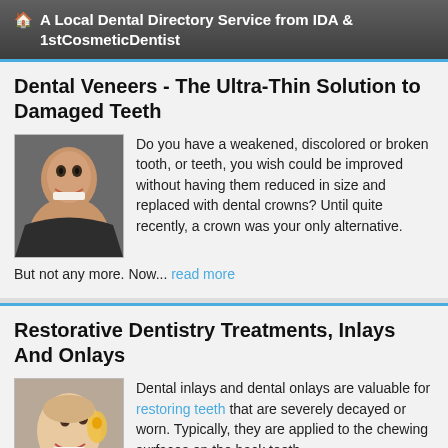A Local Dental Directory Service from IDA & 1stCosmeticDentist
Dental Veneers - The Ultra-Thin Solution to Damaged Teeth
[Figure (photo): Portrait of a smiling man showing white teeth]
Do you have a weakened, discolored or broken tooth, or teeth, you wish could be improved without having them reduced in size and replaced with dental crowns? Until quite recently, a crown was your only alternative. But not any more. Now... read more
Restorative Dentistry Treatments, Inlays And Onlays
[Figure (photo): Portrait of a smiling woman with dental instrument near her mouth]
Dental inlays and dental onlays are valuable for restoring teeth that are severely decayed or worn. Typically, they are applied to the chewing surfaces on the back teeth.
What Is the Difference Between a Dental Inlay and a Dental Onlay?